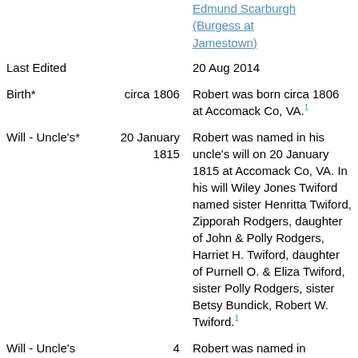| Event | Date | Details |
| --- | --- | --- |
|  |  | Edmund Scarburgh (Burgess at Jamestown) |
| Last Edited |  | 20 Aug 2014 |
| Birth* | circa 1806 | Robert was born circa 1806 at Accomack Co, VA.[1] |
| Will - Uncle's* | 20 January 1815 | Robert was named in his uncle's will on 20 January 1815 at Accomack Co, VA. In his will Wiley Jones Twiford named sister Henritta Twiford, Zipporah Rodgers, daughter of John & Polly Rodgers, Harriet H. Twiford, daughter of Purnell O. & Eliza Twiford, sister Polly Rodgers, sister Betsy Bundick, Robert W. Twiford.[1] |
| Will - Uncle's | 4 September | Robert was named in |